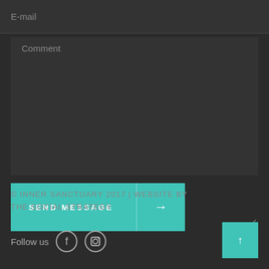E-mail
Comment
SEND MESSAGE →
© INNER SANCTUARY 2017 | WEBSITE BY THE SOCIAL STRATEGY
Follow us